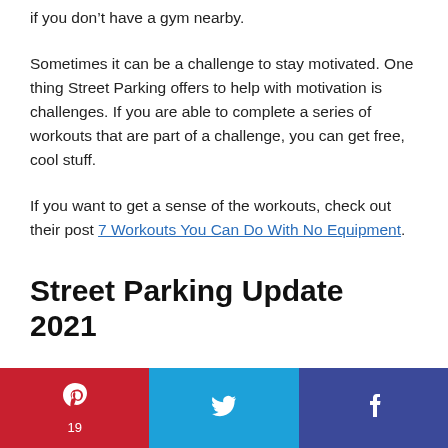if you don't have a gym nearby.
Sometimes it can be a challenge to stay motivated. One thing Street Parking offers to help with motivation is challenges. If you are able to complete a series of workouts that are part of a challenge, you can get free, cool stuff.
If you want to get a sense of the workouts, check out their post 7 Workouts You Can Do With No Equipment.
Street Parking Update 2021
[Figure (infographic): Social share bar with Pinterest (red, 19 shares), Twitter (blue), and Facebook (dark blue) buttons]